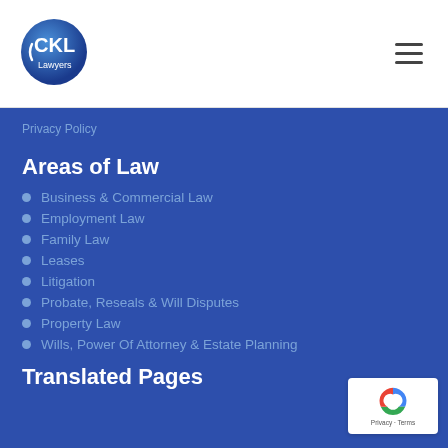[Figure (logo): CKL Lawyers circular logo with blue gradient and white text]
Privacy Policy
Areas of Law
Business & Commercial Law
Employment Law
Family Law
Leases
Litigation
Probate, Reseals & Will Disputes
Property Law
Wills, Power Of Attorney & Estate Planning
Translated Pages